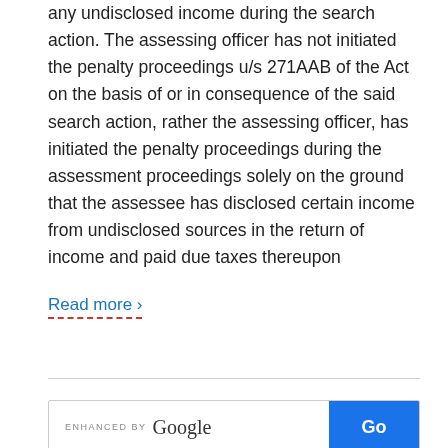any undisclosed income during the search action. The assessing officer has not initiated the penalty proceedings u/s 271AAB of the Act on the basis of or in consequence of the said search action, rather the assessing officer, has initiated the penalty proceedings during the assessment proceedings solely on the ground that the assessee has disclosed certain income from undisclosed sources in the return of income and paid due taxes thereupon
Read more ›